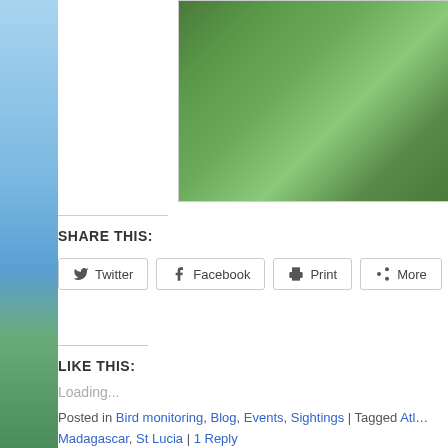[Figure (photo): Left sidebar showing blue sky and ocean/sea view with coastal landscape in blue-green tones]
[Figure (photo): Photograph of dense green grass/vegetation, cropped at top of page on right side]
SHARE THIS:
Twitter | Facebook | Print | More (share buttons)
LIKE THIS:
Loading...
Posted in Bird monitoring, Blog, Events, Sightings | Tagged Atl... Madagascar, St Lucia | 1 Reply